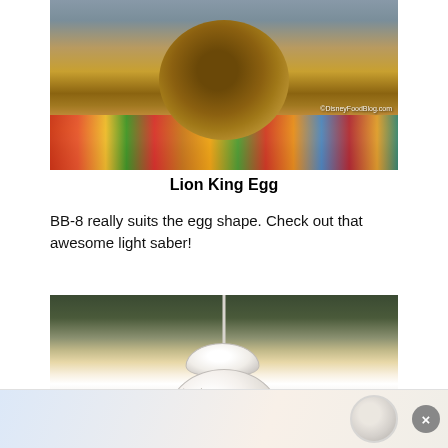[Figure (photo): Lion King themed Easter egg display with a large brown cracked egg decorated with animal figurines, surrounded by colorful candy and jelly beans. Watermark: ©DisneyFoodBlog.com]
Lion King Egg
BB-8 really suits the egg shape. Check out that awesome light saber!
[Figure (photo): BB-8 Star Wars themed Easter egg on display, shaped like the droid with orange stripe and black dot, with a light saber stick on top. Blurred crowd background. Bottom portion shows an advertisement banner with a close button.]